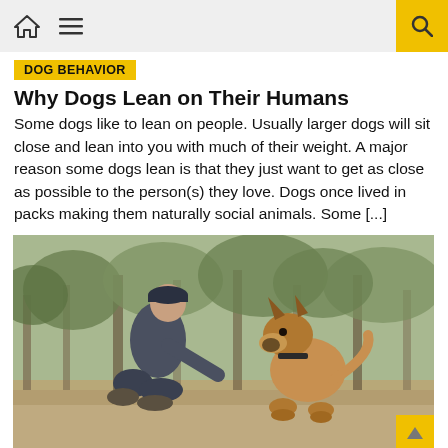DOG BEHAVIOR
Why Dogs Lean on Their Humans
Some dogs like to lean on people. Usually larger dogs will sit close and lean into you with much of their weight. A major reason some dogs lean is that they just want to get as close as possible to the person(s) they love. Dogs once lived in packs making them naturally social animals. Some [...]
[Figure (photo): A man in a dark cap and grey shirt crouching down toward a German Shepherd dog sitting in front of him on dirt ground with trees in the background.]